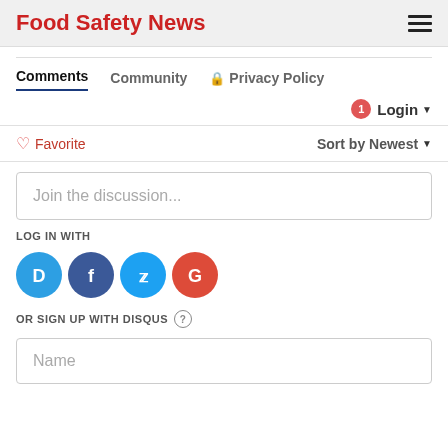Food Safety News
Comments  Community  Privacy Policy
1  Login
Favorite  Sort by Newest
Join the discussion...
LOG IN WITH
[Figure (infographic): Social login icons: Disqus (D, blue), Facebook (f, dark blue), Twitter (bird, light blue), Google (G, red)]
OR SIGN UP WITH DISQUS ?
Name